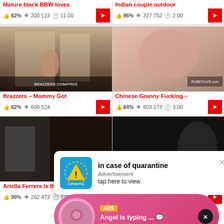Mature black BBW loves · 82% · 200 123 · 11:00
Indian couple outdoor · 96% · 327 752 · 2:00
[Figure (screenshot): Video thumbnail - Brazzers scene with woman in hallway]
[Figure (screenshot): Video thumbnail - Chinese Granny close-up]
Brazzers – Mommy Got · 82% · 608 524
Chinese Granny Fucking – · 84% · 803 273 · 3:00
[Figure (screenshot): Advertisement overlay - in case of quarantine, tap here to view]
[Figure (screenshot): Chat ad overlay - Angel is typing... (1) unread message - LIVE]
[Figure (screenshot): Video thumbnail - Ariella Ferrera]
[Figure (screenshot): Video thumbnail - Japanese Mom And Son]
Ariella Ferrera is the best · 99% · 262 473 · 7:00
Japanese Mom And Son · 89% · 925 848